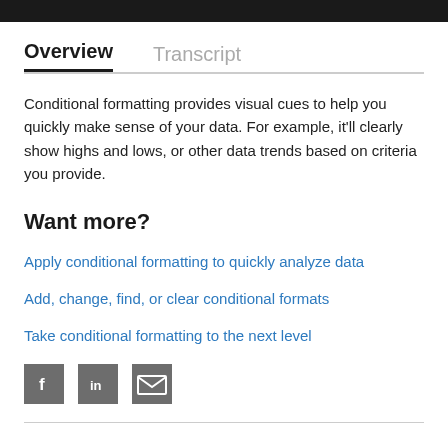Overview    Transcript
Conditional formatting provides visual cues to help you quickly make sense of your data. For example, it'll clearly show highs and lows, or other data trends based on criteria you provide.
Want more?
Apply conditional formatting to quickly analyze data
Add, change, find, or clear conditional formats
Take conditional formatting to the next level
[Figure (infographic): Social share icons: Facebook, LinkedIn, Email]